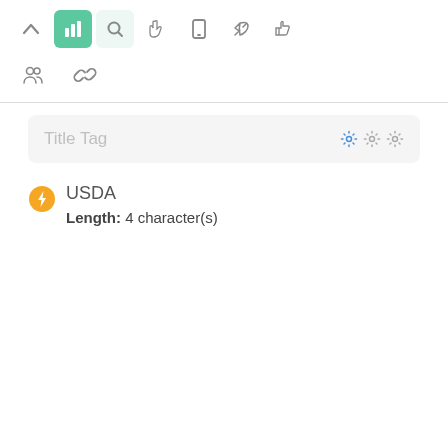[Figure (screenshot): Toolbar with icons: up arrow, bar chart (green active), search (light green active), pointer, mobile, rocket, thumbs up]
[Figure (screenshot): Second toolbar row with icons: group/people, chain/link]
Title Tag
USDA
Length: 4 character(s)